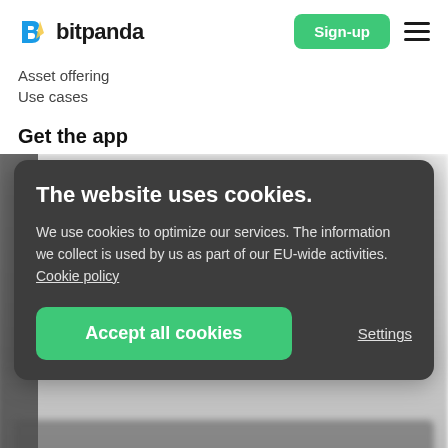[Figure (logo): Bitpanda logo: stylized B icon in blue and yellow, followed by the text 'bitpanda' in bold black]
Asset offering
Use cases
Get the app
The website uses cookies.
We use cookies to optimize our services. The information we collect is used by us as part of our EU-wide activities. Cookie policy
Accept all cookies
Settings